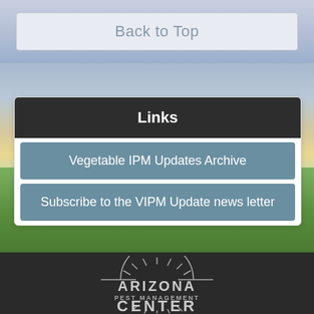Back to Top
Links
Vegetable IPM Updates Archive
Subscribe to the VIPM Update news letter
[Figure (photo): Landscape background with farmland, tree, and sky at sunset]
[Figure (logo): Arizona Pest Management Center logo with sunburst design]